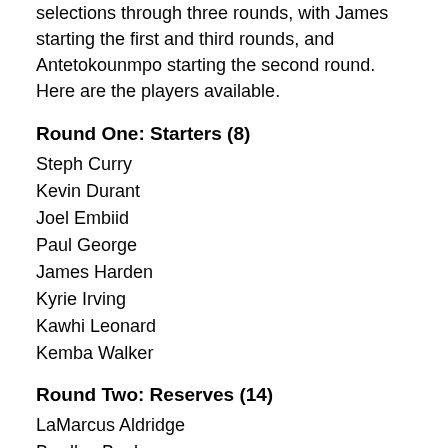selections through three rounds, with James starting the first and third rounds, and Antetokounmpo starting the second round. Here are the players available.
Round One: Starters (8)
Steph Curry
Kevin Durant
Joel Embiid
Paul George
James Harden
Kyrie Irving
Kawhi Leonard
Kemba Walker
Round Two: Reserves (14)
LaMarcus Aldridge
Bradley Beal